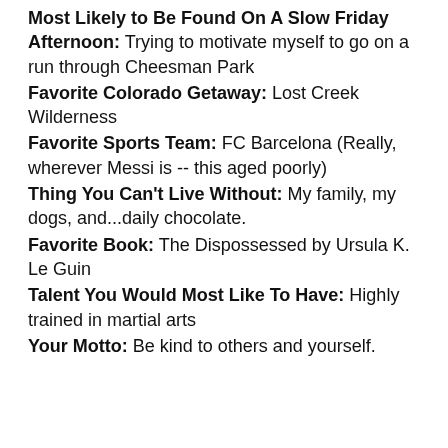Most Likely to Be Found On A Slow Friday Afternoon: Trying to motivate myself to go on a run through Cheesman Park
Favorite Colorado Getaway: Lost Creek Wilderness
Favorite Sports Team: FC Barcelona (Really, wherever Messi is -- this aged poorly)
Thing You Can't Live Without: My family, my dogs, and...daily chocolate.
Favorite Book: The Dispossessed by Ursula K. Le Guin
Talent You Would Most Like To Have: Highly trained in martial arts
Your Motto: Be kind to others and yourself.